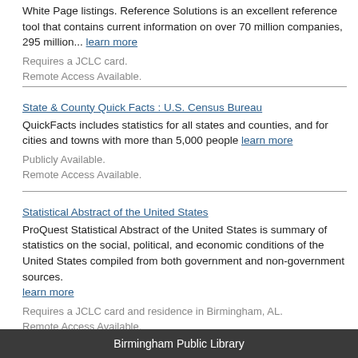White Page listings. Reference Solutions is an excellent reference tool that contains current information on over 70 million companies, 295 million... learn more
Requires a JCLC card.
Remote Access Available.
State & County Quick Facts : U.S. Census Bureau
QuickFacts includes statistics for all states and counties, and for cities and towns with more than 5,000 people learn more
Publicly Available.
Remote Access Available.
Statistical Abstract of the United States
ProQuest Statistical Abstract of the United States is summary of statistics on the social, political, and economic conditions of the United States compiled from both government and non-government sources. learn more
Requires a JCLC card and residence in Birmingham, AL.
Remote Access Available.
Birmingham Public Library